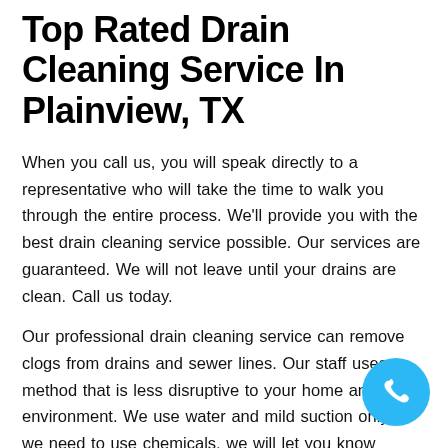Top Rated Drain Cleaning Service In Plainview, TX
When you call us, you will speak directly to a representative who will take the time to walk you through the entire process. We'll provide you with the best drain cleaning service possible. Our services are guaranteed. We will not leave until your drains are clean. Call us today.
Our professional drain cleaning service can remove clogs from drains and sewer lines. Our staff uses a method that is less disruptive to your home and environment. We use water and mild suction only. If we need to use chemicals, we will let you know before proceeding.
We provide our customers with the highest quality, affordable services available. No job is too small or too large! We have a huge variety of drain cleaning tools that
[Figure (other): Blue circular phone call button in bottom right corner]